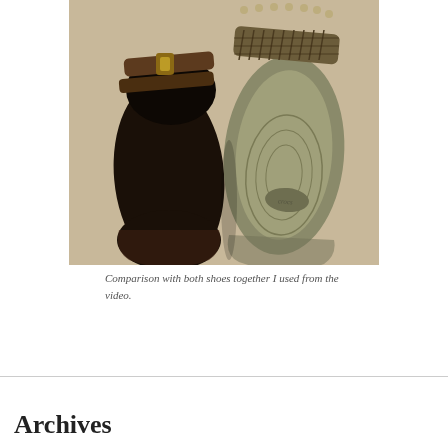[Figure (photo): Top-down view of two shoes placed side by side on a beige/tan surface. On the left is a dark brown Birkenstock sandal with a buckle strap, showing a black footbed. On the right is a tan/khaki Crocs sandal with a woven/patterned strap, showing a light olive green footbed with the Crocs logo molded in.]
Comparison with both shoes together I used from the video.
Archives